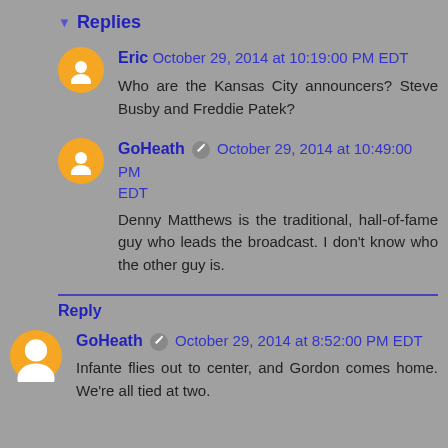▼ Replies
Eric October 29, 2014 at 10:19:00 PM EDT
Who are the Kansas City announcers? Steve Busby and Freddie Patek?
GoHeath ✎ October 29, 2014 at 10:49:00 PM EDT
Denny Matthews is the traditional, hall-of-fame guy who leads the broadcast. I don't know who the other guy is.
Reply
GoHeath ✎ October 29, 2014 at 8:52:00 PM EDT
Infante flies out to center, and Gordon comes home. We're all tied at two.